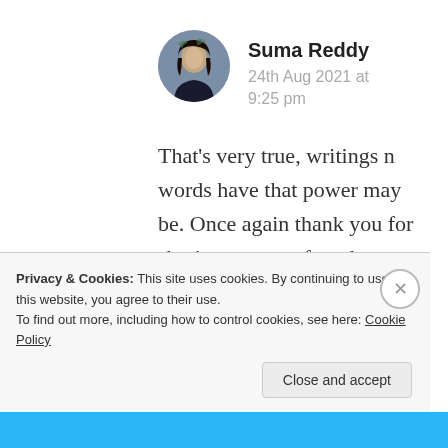[Figure (photo): Circular avatar photo of Suma Reddy, a woman with dark hair]
Suma Reddy
24th Aug 2021 at 9:25 pm
That's very true, writings n words have that power may be. Once again thank you for sharing your profound thoughts n
Privacy & Cookies: This site uses cookies. By continuing to use this website, you agree to their use.
To find out more, including how to control cookies, see here: Cookie Policy
Close and accept